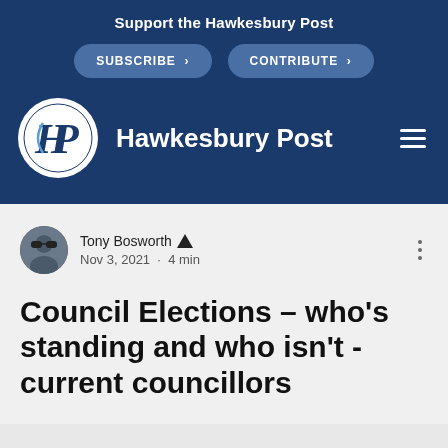Support the Hawkesbury Post
SUBSCRIBE > | CONTRIBUTE >
[Figure (logo): Hawkesbury Post logo: white circle with HP monogram in blue, beside the text Hawkesbury Post in white on dark blue background with hamburger menu icon]
Tony Bosworth 🛡
Nov 3, 2021 · 4 min
Council Elections – who's standing and who isn't - current councillors